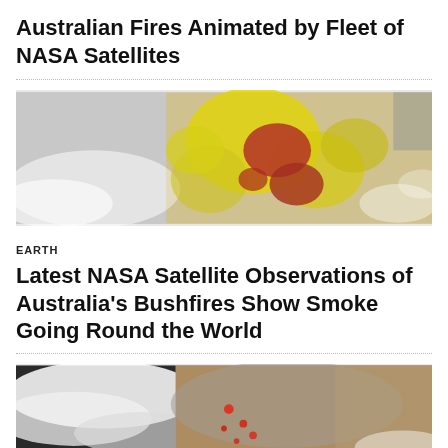Australian Fires Animated by Fleet of NASA Satellites
[Figure (photo): Satellite image of Australia showing fires with yellow and red heat signatures over the landscape]
EARTH
Latest NASA Satellite Observations of Australia's Bushfires Show Smoke Going Round the World
[Figure (photo): Satellite image showing smoke and red fire hotspots along the Australian coastline, with dark ocean and white smoke plumes]